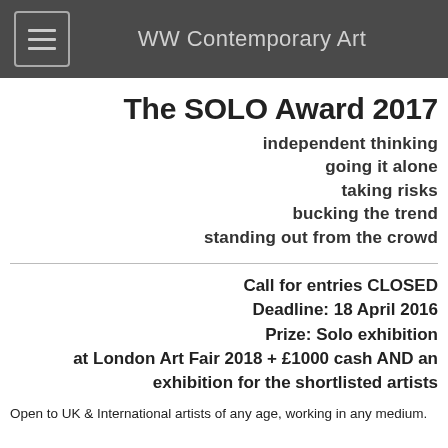WW Contemporary Art
The SOLO Award 2017
independent thinking
going it alone
taking risks
bucking the trend
standing out from the crowd
Call for entries CLOSED
Deadline: 18 April 2016
Prize: Solo exhibition at London Art Fair 2018 + £1000 cash AND an exhibition for the shortlisted artists
Open to UK & International artists of any age, working in any medium.